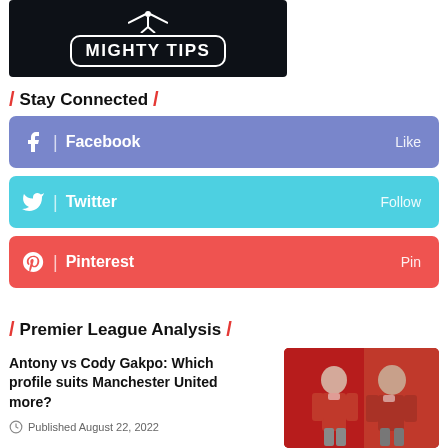[Figure (logo): Mighty Tips logo — white text on dark background with rounded rectangle border]
/ Stay Connected /
[Figure (infographic): Facebook Like button — blue/purple background with Facebook icon, text 'Facebook' and 'Like']
[Figure (infographic): Twitter Follow button — cyan background with Twitter bird icon, text 'Twitter' and 'Follow']
[Figure (infographic): Pinterest Pin button — red background with Pinterest icon, text 'Pinterest' and 'Pin']
/ Premier League Analysis /
Antony vs Cody Gakpo: Which profile suits Manchester United more?
Published August 22, 2022
[Figure (photo): Photo of two Manchester United players in red jerseys — Antony and Cody Gakpo]